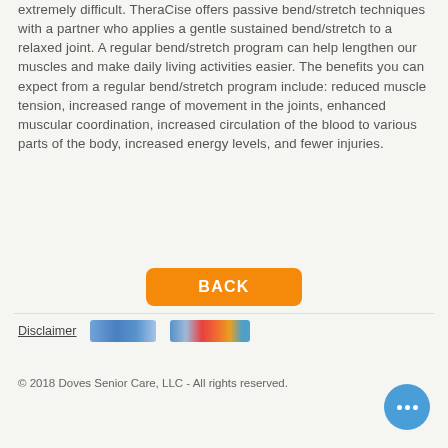extremely difficult. TheraCise offers passive bend/stretch techniques with a partner who applies a gentle sustained bend/stretch to a relaxed joint. A regular bend/stretch program can help lengthen our muscles and make daily living activities easier. The benefits you can expect from a regular bend/stretch program include: reduced muscle tension, increased range of movement in the joints, enhanced muscular coordination, increased circulation of the blood to various parts of the body, increased energy levels, and fewer injuries.
[Figure (other): Orange BACK button]
Disclaimer
[Figure (logo): Blurred blue logo image]
[Figure (logo): Blurred colorful logo image]
© 2018 Doves Senior Care, LLC - All rights reserved.